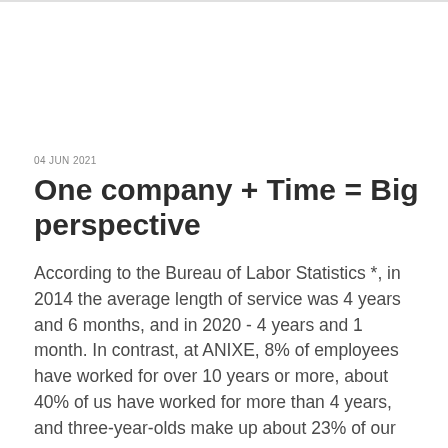04 JUN 2021
One company + Time = Big perspective
According to the Bureau of Labor Statistics *, in 2014 the average length of service was 4 years and 6 months, and in 2020 - 4 years and 1 month. In contrast, at ANIXE, 8% of employees have worked for over 10 years or more, about 40% of us have worked for more than 4 years, and three-year-olds make up about 23% of our